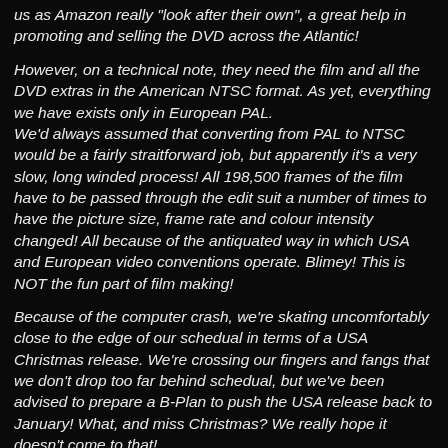us as Amazon really "look after their own", a great help in promoting and selling the DVD across the Atlantic!
However, on a technical note, they need the film and all the DVD extras in the American NTSC format. As yet, everything we have exists only in European PAL. We'd always assumed that converting from PAL to NTSC would be a fairly straitforward job, but apparently it's a very slow, long winded process! All 198,500 frames of the film have to be passed through the edit suit a number of times to have the picture size, frame rate and colour intensity changed! All because of the antiquated way in which USA and European video conventions operate. Blimey! This is NOT the fun part of film making!
Because of the computer crash, we're skating uncomfortably close to the edge of our schedual in terms of a USA Christmas release. We're crossing our fingers and fangs that we don't drop too far behind schedual, but we've been advised to prepare a B-Plan to push the USA release back to January! What, and miss Christmas? We really hope it doesn't come to that!